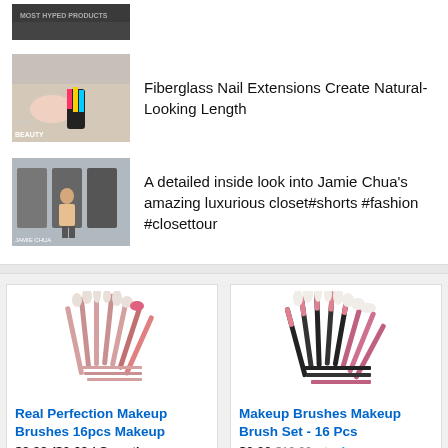[Figure (screenshot): Video thumbnail showing 'Most Hyped Products' text overlay on dark background]
[Figure (screenshot): Video thumbnail showing colorful glittery fiberglass nail extensions being applied]
Fiberglass Nail Extensions Create Natural-Looking Length
[Figure (screenshot): Video thumbnail showing a person in a luxurious closet]
A detailed inside look into Jamie Chua's amazing luxurious closet#shorts #fashion #closettour
[Figure (photo): Real Perfection Makeup Brushes 16pcs set with pink and rose gold handles]
Real Perfection Makeup Brushes 16pcs Makeup
$9.99 ($0.62 / Count)
[Figure (photo): Makeup Brushes Makeup Brush Set - 16 Pcs with black and pink handles]
Makeup Brushes Makeup Brush Set - 16 Pcs
$0.00 $19.99 prime